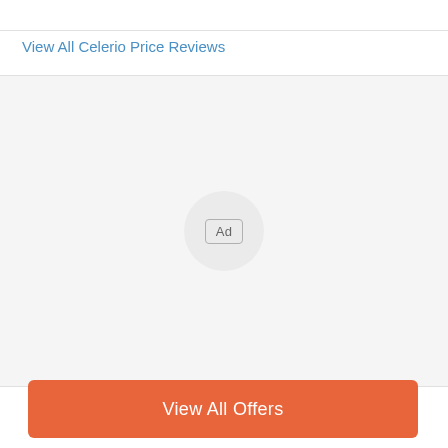View All Celerio Price Reviews
[Figure (other): Advertisement placeholder area with a circular Ad icon in the center on a light gray background]
View All Offers